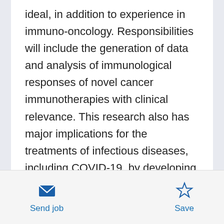ideal, in addition to experience in immuno-oncology. Responsibilities will include the generation of data and analysis of immunological responses of novel cancer immunotherapies with clinical relevance. This research also has major implications for the treatments of infectious diseases, including COVID-19, by developing superior immunotherapeutic methods and utilizing novel humanized mouse and hamster models. Incumbent will employ methods of flow cytometry, immunohistochemistry, immunofluorescence, ELISA, qRT-PCR, mammalian cell-culture, and cell-based assays to evaluate novel
Send job
Save